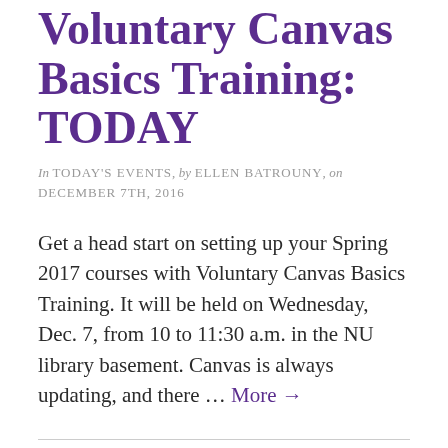Voluntary Canvas Basics Training: TODAY
In TODAY'S EVENTS, by ELLEN BATROUNY, on DECEMBER 7TH, 2016
Get a head start on setting up your Spring 2017 courses with Voluntary Canvas Basics Training. It will be held on Wednesday, Dec. 7, from 10 to 11:30 a.m. in the NU library basement. Canvas is always updating, and there … More →
HOLIDAY SALE at campus store